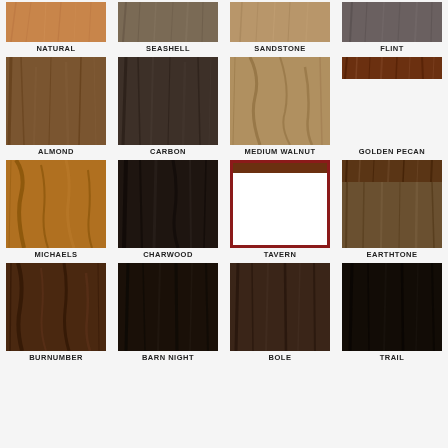[Figure (illustration): Wood stain color swatch chart showing 16 named wood finishes in a 4-column grid: NATURAL (light oak), SEASHELL (medium oak), SANDSTONE (tan/beige oak), FLINT (gray oak), ALMOND (warm brown), CARBON (dark brown), MEDIUM WALNUT (selected, shown as white with red border), GOLDEN PECAN (orange-brown), MICHAELS (medium-dark walnut), CHARWOOD (dark charcoal), TAVERN (dark brown), EARTHTONE (very dark brown), and partial row below with BURNUMBER, BARN NIGHT, BOLE, TRAIL.]